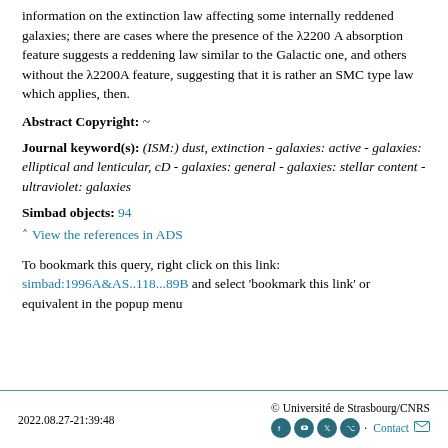information on the extinction law affecting some internally reddened galaxies; there are cases where the presence of the λ2200 A absorption feature suggests a reddening law similar to the Galactic one, and others without the λ2200A feature, suggesting that it is rather an SMC type law which applies, then.
Abstract Copyright: ~
Journal keyword(s): (ISM:) dust, extinction - galaxies: active - galaxies: elliptical and lenticular, cD - galaxies: general - galaxies: stellar content - ultraviolet: galaxies
Simbad objects: 94
View the references in ADS
To bookmark this query, right click on this link: simbad:1996A&AS..118...89B and select 'bookmark this link' or equivalent in the popup menu
2022.08.27-21:39:48   © Université de Strasbourg/CNRS   Contact